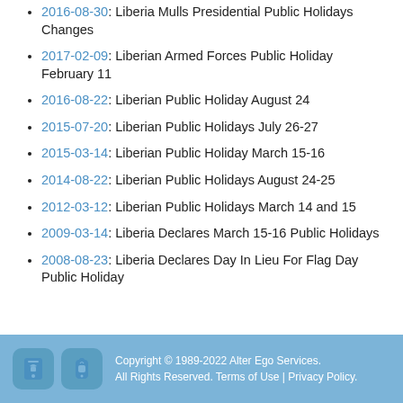2016-08-30: Liberia Mulls Presidential Public Holidays Changes
2017-02-09: Liberian Armed Forces Public Holiday February 11
2016-08-22: Liberian Public Holiday August 24
2015-07-20: Liberian Public Holidays July 26-27
2015-03-14: Liberian Public Holiday March 15-16
2014-08-22: Liberian Public Holidays August 24-25
2012-03-12: Liberian Public Holidays March 14 and 15
2009-03-14: Liberia Declares March 15-16 Public Holidays
2008-08-23: Liberia Declares Day In Lieu For Flag Day Public Holiday
Copyright © 1989-2022 Alter Ego Services. All Rights Reserved. Terms of Use | Privacy Policy.